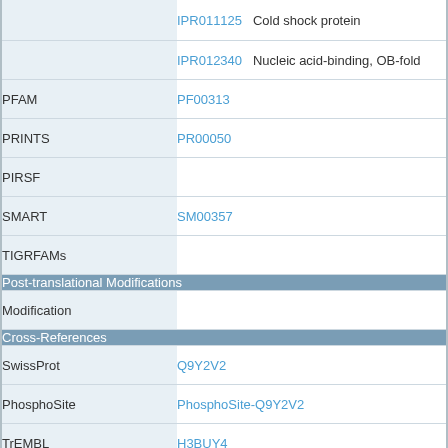| Category | Value |
| --- | --- |
| IPR011125 | Cold shock protein |
| IPR012340 | Nucleic acid-binding, OB-fold |
| PFAM | PF00313 |
| PRINTS | PR00050 |
| PIRSF |  |
| SMART | SM00357 |
| TIGRFAMs |  |
| Post-translational Modifications |  |
| Modification |  |
| Cross-References |  |
| SwissProt | Q9Y2V2 |
| PhosphoSite | PhosphoSite-Q9Y2V2 |
| TrEMBL | H3BUY4 |
| UniProt Splice |  |